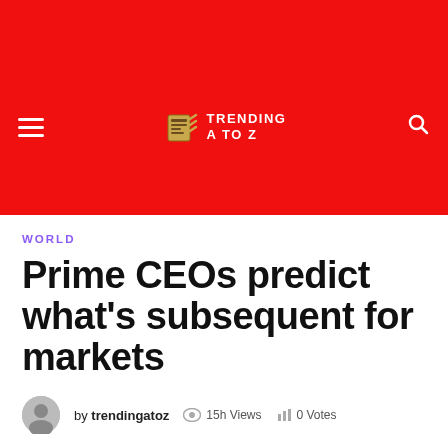TRENDING A TO Z — navigation header with hamburger menu and search icon
WORLD
Prime CEOs predict what’s subsequent for markets
by trendingatoz